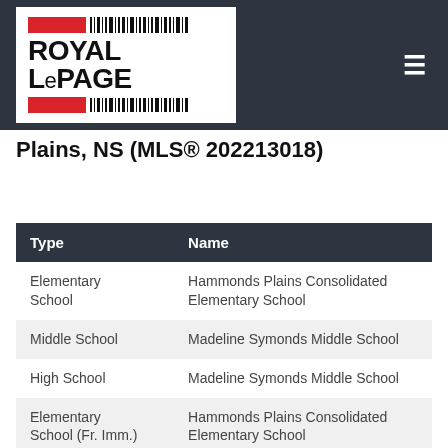[Figure (logo): Royal LePage logo with red bars and barcode graphic on dark header background]
Plains, NS (MLS® 202213018)
| Type | Name |
| --- | --- |
| Elementary School | Hammonds Plains Consolidated Elementary School |
| Middle School | Madeline Symonds Middle School |
| High School | Madeline Symonds Middle School |
| Elementary School (Fr. Imm.) | Hammonds Plains Consolidated Elementary School |
| Middle School (Fr. Imm.) | Madeline Symonds Middle School |